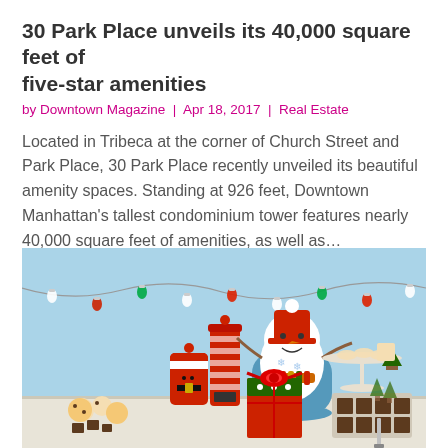30 Park Place unveils its 40,000 square feet of five-star amenities
by Downtown Magazine | Apr 18, 2017 | Real Estate
Located in Tribeca at the corner of Church Street and Park Place, 30 Park Place recently unveiled its beautiful amenity spaces. Standing at 926 feet, Downtown Manhattan's tallest condominium tower features nearly 40,000 square feet of amenities, as well as...
[Figure (photo): Christmas-themed photo showing holiday gift tins and containers decorated as Santa and elves, a snowman figurine wearing a red hat and striped scarf, Christmas cookies and brownies on a cake stand, with colorful string lights garland in the background against a light blue wall.]